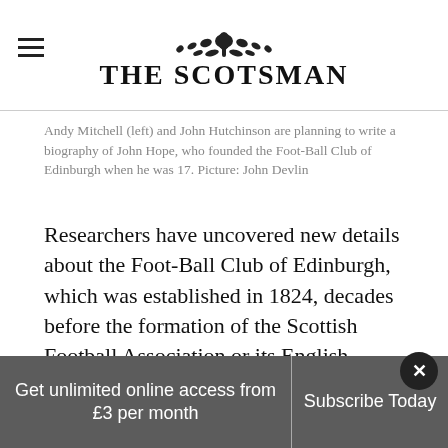THE SCOTSMAN
Andy Mitchell (left) and John Hutchinson are planning to write a biography of John Hope, who founded the Foot-Ball Club of Edinburgh when he was 17. Picture: John Devlin
Researchers have uncovered new details about the Foot-Ball Club of Edinburgh, which was established in 1824, decades before the formation of the Scottish Football Association or its English counterpart.
The side, drawn from Georgian and Victorian Edinburgh’s professional classes, played a cruder version of the game we know today.
Get unlimited online access from £3 per month
Subscribe Today